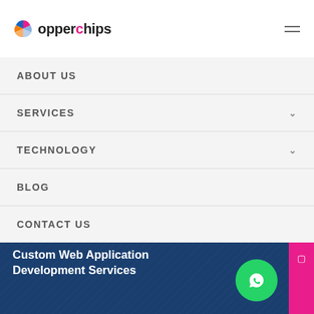Copperchips
ABOUT US
SERVICES
TECHNOLOGY
BLOG
CONTACT US
DEC 11, 2021 | BY
Custom Web Application Development Services